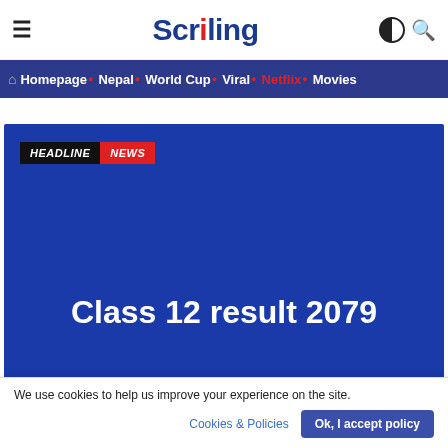Scriling — Homepage • Nepal • World Cup • Viral • Netflix • Movies
[Figure (screenshot): Feature image with blue background showing 'HEADLINE NEWS' badge and text 'Class 12 result 2079']
We use cookies to help us improve your experience on the site.
Cookies & Policies | Ok, I accept policy